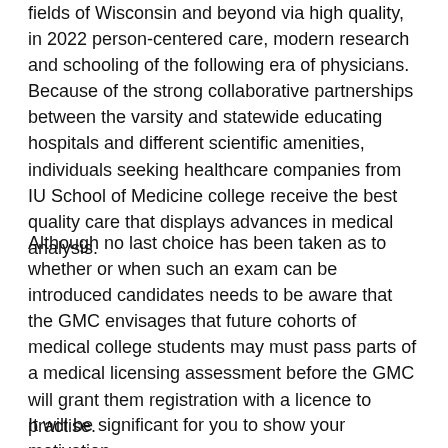fields of Wisconsin and beyond via high quality, in 2022 person-centered care, modern research and schooling of the following era of physicians. Because of the strong collaborative partnerships between the varsity and statewide educating hospitals and different scientific amenities, individuals seeking healthcare companies from IU School of Medicine college receive the best quality care that displays advances in medical analysis.
Although no last choice has been taken as to whether or when such an exam can be introduced candidates needs to be aware that the GMC envisages that future cohorts of medical college students may must pass parts of a medical licensing assessment before the GMC will grant them registration with a licence to practise.
It will be significant for you to show your motivation